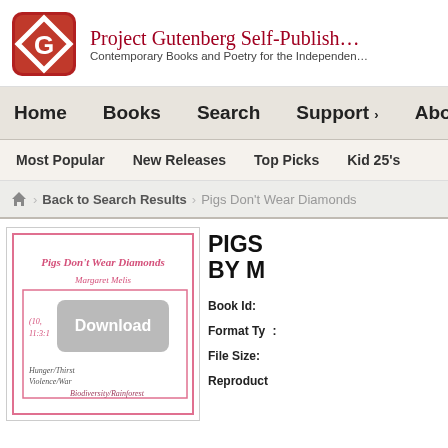[Figure (logo): Project Gutenberg Self-Publishing Press logo - red rounded square with white G diamond shape]
Project Gutenberg Self-Publishing
Contemporary Books and Poetry for the Independent
Home   Books   Search   Support   About Us
Most Popular   New Releases   Top Picks   Kid 25's
Back to Search Results > Pigs Don't Wear Diamonds
[Figure (screenshot): Book cover preview for 'Pigs Don't Wear Diamonds' by Margaret Melis, showing partial content with a Download overlay button, and text including Hunger/Thirst, Violence/War, Biodiversity/Rainforest]
PIGS
BY M
Book Id:
Format Ty:
File Size:
Reproduct